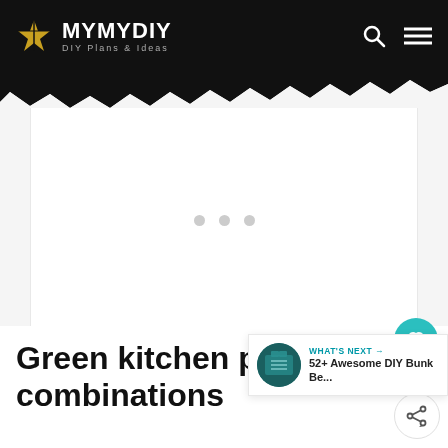MYMYDIY — DIY Plans & Ideas
[Figure (screenshot): White content/ad placeholder area with three grey loading dots in the center]
2
WHAT'S NEXT → 52+ Awesome DIY Bunk Be...
Green kitchen paint color combinations